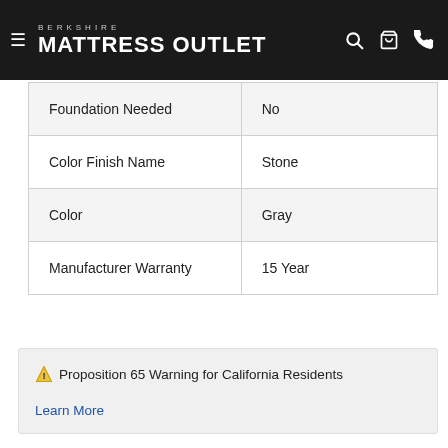BERKSHIRE MATTRESS OUTLET
|  |  |
| --- | --- |
| Foundation Needed | No |
| Color Finish Name | Stone |
| Color | Gray |
| Manufacturer Warranty | 15 Year |
⚠ Proposition 65 Warning for California Residents
Learn More